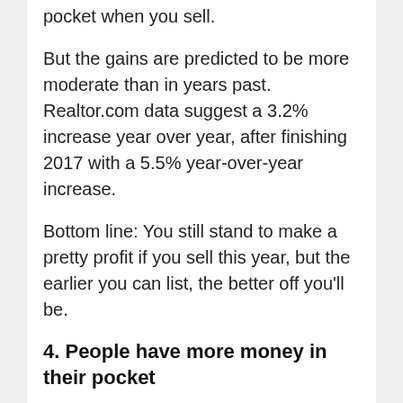pocket when you sell.
But the gains are predicted to be more moderate than in years past. Realtor.com data suggest a 3.2% increase year over year, after finishing 2017 with a 5.5% year-over-year increase.
Bottom line: You still stand to make a pretty profit if you sell this year, but the earlier you can list, the better off you'll be.
4. People have more money in their pocket
Record levels of consumer confidence, low unemployment, and stock market surges are setting the stage for high home buyer turnout in 2018. For the first time since the 1960s, the Fed